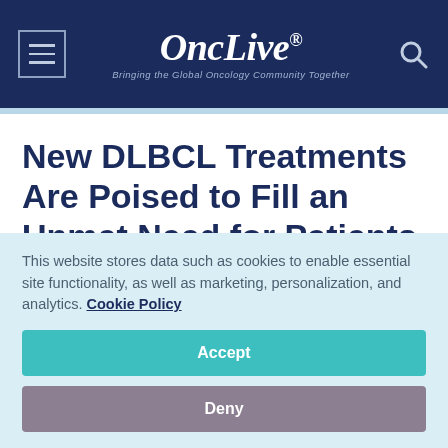OncLive® — Bringing the Global Oncology Community Together
New DLBCL Treatments Are Poised to Fill an Unmet Need for Patients in Challenging Settings
This website stores data such as cookies to enable essential site functionality, as well as marketing, personalization, and analytics. Cookie Policy
Accept
Deny